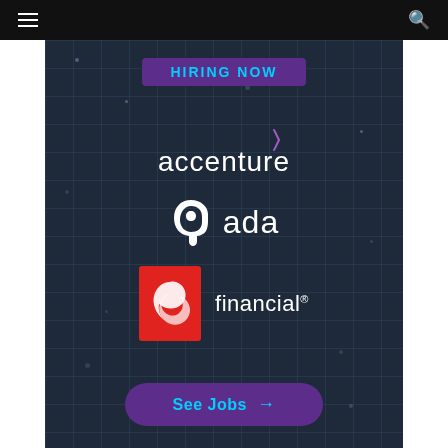Navigation bar with hamburger menu and search icon
[Figure (infographic): Dark blue-grey tech background with grid lines and scattered light dots showing company logos: Accenture, ada, and PC Financial, with a 'HIRING NOW' badge at top and 'See Jobs →' button at bottom]